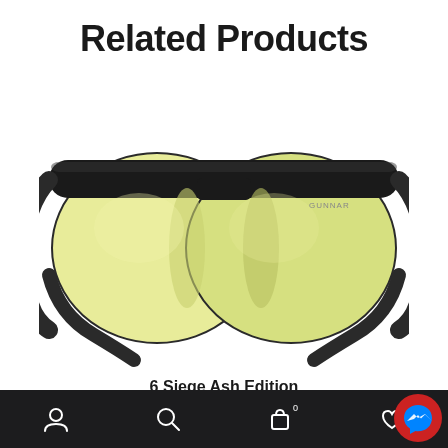Related Products
[Figure (photo): GUNNAR gaming glasses with black frame and yellow-tinted lenses (6 Siege Ash Edition), front view on white background]
6 Siege Ash Edition
RM479.99
Bottom navigation bar with account, search, cart (0), and wishlist icons